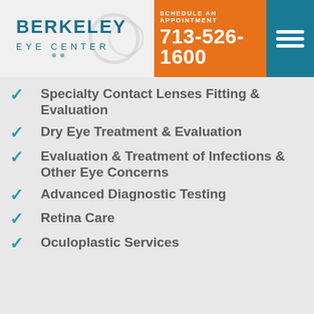[Figure (logo): Berkeley Eye Center logo with circular lens graphic]
SCHEDULE AN APPOINTMENT
713-526-1600
Specialty Contact Lenses Fitting & Evaluation
Dry Eye Treatment & Evaluation
Evaluation & Treatment of Infections & Other Eye Concerns
Advanced Diagnostic Testing
Retina Care
Oculoplastic Services